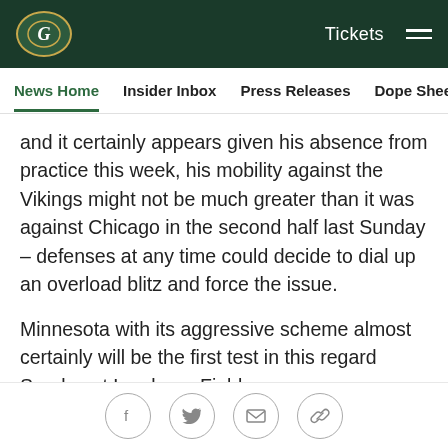Green Bay Packers website header with logo, Tickets link, and hamburger menu
News Home | Insider Inbox | Press Releases | Dope Sheet | Game
and it certainly appears given his absence from practice this week, his mobility against the Vikings might not be much greater than it was against Chicago in the second half last Sunday – defenses at any time could decide to dial up an overload blitz and force the issue.
Minnesota with its aggressive scheme almost certainly will be the first test in this regard Sunday at Lambeau Field.
Rodgers' only response to avoid a sack or intentional grounding will be the hot read, and then it'll be on that
Social share icons: Facebook, Twitter, Email, Link